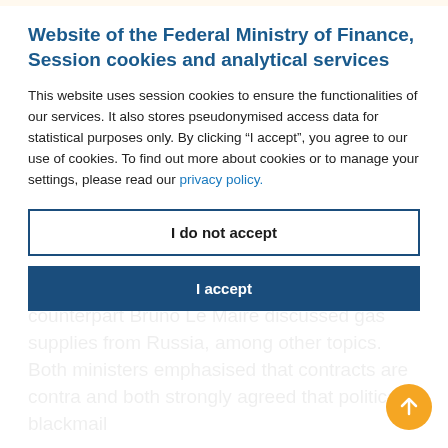Website of the Federal Ministry of Finance, Session cookies and analytical services
This website uses session cookies to ensure the functionalities of our services. It also stores pseudonymised access data for statistical purposes only. By clicking "I accept", you agree to our use of cookies. To find out more about cookies or to manage your settings, please read our privacy policy.
I do not accept
I accept
counterpart Bruno Le Maire discussed gas supplies from Russia, among other topics. Both ministers emphasised that contracts are contracts and both strongly agreed that political blackmail